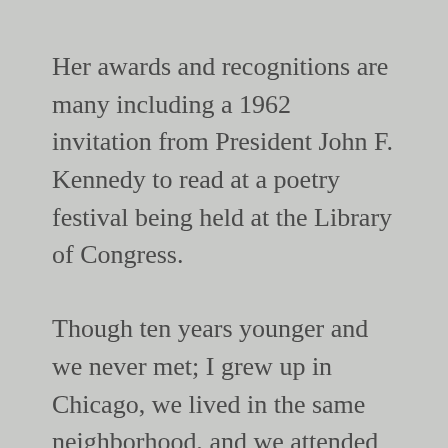Her awards and recognitions are many including a 1962 invitation from President John F. Kennedy to read at a poetry festival being held at the Library of Congress.
Though ten years younger and we never met; I grew up in Chicago, we lived in the same neighborhood, and we attended the same school (Englewood).